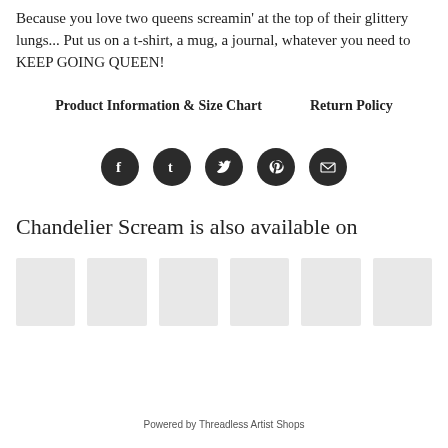Because you love two queens screamin' at the top of their glittery lungs... Put us on a t-shirt, a mug, a journal, whatever you need to KEEP GOING QUEEN!
Product Information & Size Chart    Return Policy
[Figure (other): Row of five social media icon buttons (Facebook, Tumblr, Twitter, Pinterest, Email) as dark circular icons]
Chandelier Scream is also available on
[Figure (other): Row of six light grey placeholder thumbnail rectangles for marketplace logos]
Powered by Threadless Artist Shops